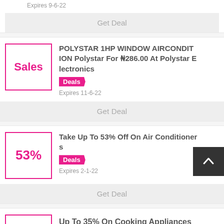Expires 9-6-22
Get Deal
POLYSTAR 1HP WINDOW AIRCONDITION Polystar For ₦286.00 At Polystar Electronics
Deals
Expires 11-6-22
Get Deal
Take Up To 53% Off On Air Conditioners
Deals
Expires 2-1-22
Get Deal
Up To 35% On Cooking Appliances